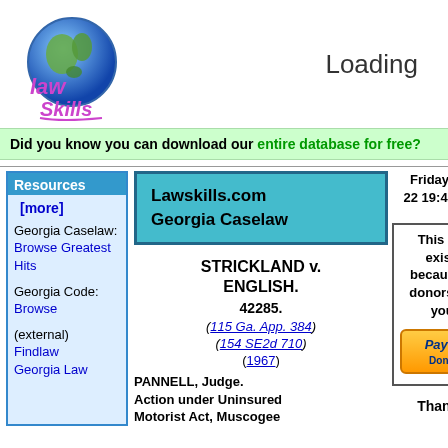[Figure (logo): LawSkills.com logo with globe and stylized text 'law skills']
Loading
Did you know you can download our entire database for free?
Resources [more]
Georgia Caselaw: Browse Greatest Hits
Georgia Code: Browse
(external) Findlaw Georgia Law
Lawskills.com Georgia Caselaw
STRICKLAND v. ENGLISH. 42285. (115 Ga. App. 384) (154 SE2d 710) (1967)
PANNELL, Judge. Action under Uninsured Motorist Act, Muscogee
Friday May 22 19:42 EDT
This site exists because of donors like you.
[Figure (other): PayPal Donate button]
Thanks!